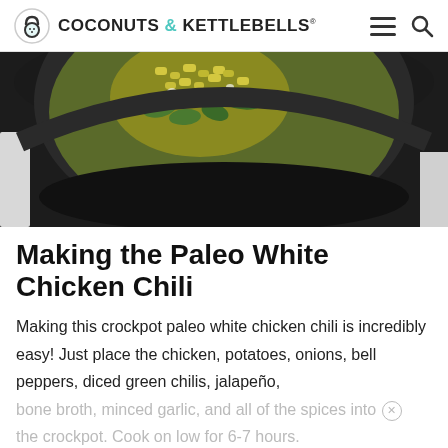COCONUTS & KETTLEBELLS.
[Figure (photo): Overhead close-up of a black slow cooker/crockpot containing green chili ingredients including corn, diced peppers, and other vegetables on a light marble surface]
Making the Paleo White Chicken Chili
Making this crockpot paleo white chicken chili is incredibly easy! Just place the chicken, potatoes, onions, bell peppers, diced green chilis, jalapeño, bone broth, minced garlic, and all of the spices into the crockpot. Cook on low for 6-7 hours.